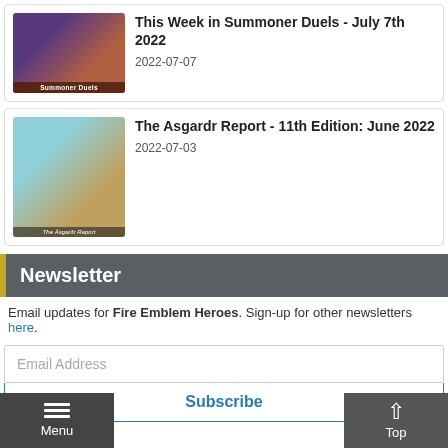[Figure (screenshot): Thumbnail for 'This Week in Summoner Duels' article showing dark purple and brown tones with a label 'Summoner Duels']
This Week in Summoner Duels - July 7th 2022
2022-07-07
[Figure (screenshot): Thumbnail for 'The Asgardr Report' article showing teal and gold tones with label 'The Asgardr Report']
The Asgardr Report - 11th Edition: June 2022
2022-07-03
Newsletter
Email updates for Fire Emblem Heroes. Sign-up for other newsletters here.
Email Address
Subscribe